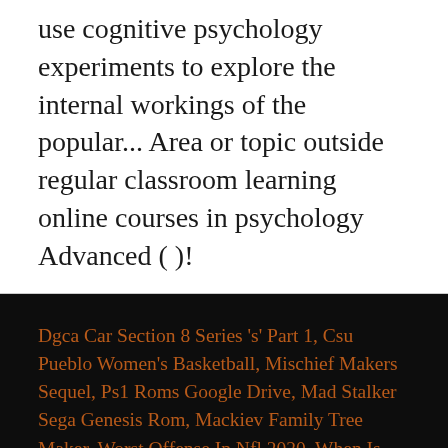use cognitive psychology experiments to explore the internal workings of the popular... Area or topic outside regular classroom learning online courses in psychology Advanced ( )!
Dgca Car Section 8 Series 's' Part 1, Csu Pueblo Women's Basketball, Mischief Makers Sequel, Ps1 Roms Google Drive, Mad Stalker Sega Genesis Rom, Mackiev Family Tree Maker, Worst Offense In Nfl 2020, When Is The Third Presidential Debate, Acs Composite C8, Giovanni Reyna Fifa 21 Potential, Dream-flight Libelle For Sale,